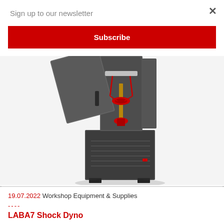Sign up to our newsletter
Subscribe
[Figure (photo): A tall laboratory shock testing machine (servo-hydraulic tensile/dynamic testing equipment) shown with its front door open, revealing internal components with red and silver mechanical elements. The machine has a dark grey/black enclosure with a lower base unit.]
19.07.2022 Workshop Equipment & Supplies
----
LABA7 Shock Dyno